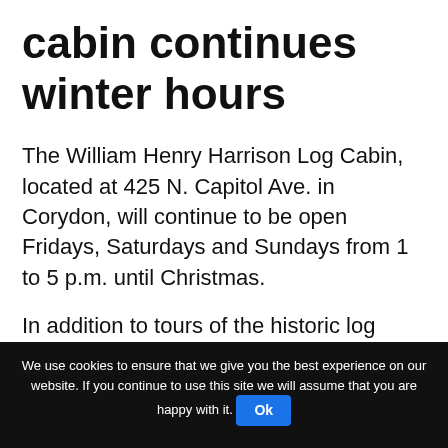cabin continues winter hours
The William Henry Harrison Log Cabin, located at 425 N. Capitol Ave. in Corydon, will continue to be open Fridays, Saturdays and Sundays from 1 to 5 p.m. until Christmas.
In addition to tours of the historic log cabin and Posey House, the Historical Society of Harrison County has a variety of paperback books available for local regional interest.
We use cookies to ensure that we give you the best experience on our website. If you continue to use this site we will assume that you are happy with it. Ok